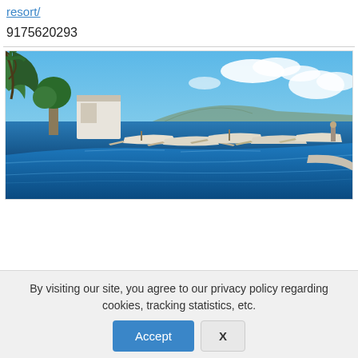resort/
9175620293
[Figure (photo): Resort infinity pool overlooking the ocean with traditional Filipino outrigger boats (bangkas) moored along the shore, palm trees on the left, mountains and blue sky in the background.]
By visiting our site, you agree to our privacy policy regarding cookies, tracking statistics, etc.
Accept
X